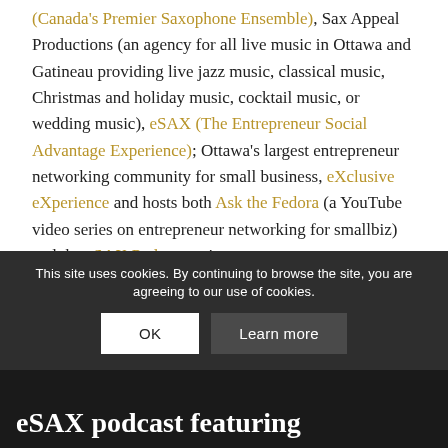(Canada's Premier Saxophone Ensemble), Sax Appeal Productions (an agency for all live music in Ottawa and Gatineau providing live jazz music, classical music, Christmas and holiday music, cocktail music, or wedding music), eSAX (The Entrepreneur Social Advantage Experience); Ottawa's largest entrepreneur networking community for small business, eXclusive eXperience and hosts both Ask the Fedora (a YouTube video series on entrepreneur networking for smallbiz) and the eSAX Podcast series.

This podcast was produced by Barking Monkey Studio.
This site uses cookies. By continuing to browse the site, you are agreeing to our use of cookies.
eSAX podcast featuring